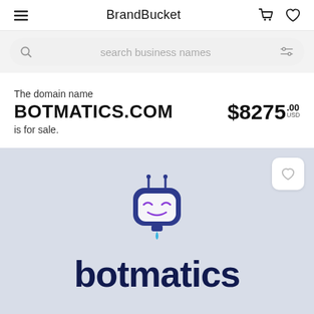BrandBucket
search business names
The domain name
BOTMATICS.COM
is for sale.
$8275.00 USD
[Figure (logo): Botmatics logo: a friendly robot face icon in blue and purple with antennae, above the text 'botmatics' in dark navy bold font]